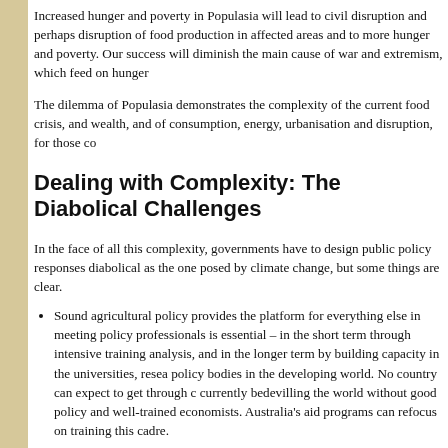Increased hunger and poverty in Populasia will lead to civil disruption and perhaps disruption of food production in affected areas and to more hunger and poverty. Our success will diminish the main cause of war and extremism, which feed on hunger...
The dilemma of Populasia demonstrates the complexity of the current food crisis... and wealth, and of consumption, energy, urbanisation and disruption, for those c...
Dealing with Complexity: The Diabolical Challenges
In the face of all this complexity, governments have to design public policy responses... diabolical as the one posed by climate change, but some things are clear.
Sound agricultural policy provides the platform for everything else in meeting... policy professionals is essential – in the short term through intensive training... analysis, and in the longer term by building capacity in the universities, research... policy bodies in the developing world. No country can expect to get through challenges currently bedevilling the world without good policy and well-trained economists... Australia's aid programs can refocus on training this cadre.
Primary and secondary education, particularly for girls, given the predominance in developing countries, is essential. A shift in the direction of Australian aid to m... accompanied by greater support for the education sector.
Research and innovation systems and public and private extension services... education and farmer associations. The private sector plays a crucial role in... little impact on the poorest of the poor. Australian experience may be helpful...